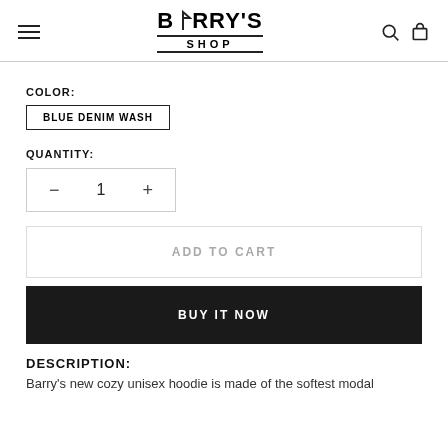BARRY'S SHOP
COLOR:
BLUE DENIM WASH
QUANTITY:
1
ADD TO CART
BUY IT NOW
DESCRIPTION:
Barry's new cozy unisex hoodie is made of the softest modal